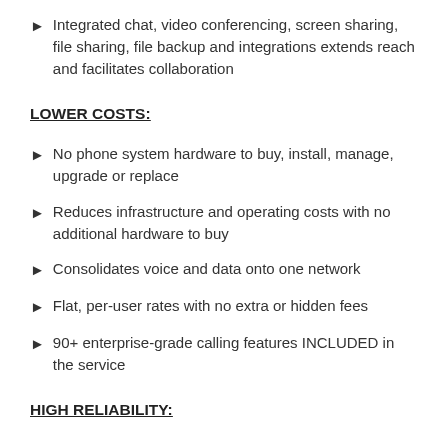Integrated chat, video conferencing, screen sharing, file sharing, file backup and integrations extends reach and facilitates collaboration
LOWER COSTS:
No phone system hardware to buy, install, manage, upgrade or replace
Reduces infrastructure and operating costs with no additional hardware to buy
Consolidates voice and data onto one network
Flat, per-user rates with no extra or hidden fees
90+ enterprise-grade calling features INCLUDED in the service
HIGH RELIABILITY: